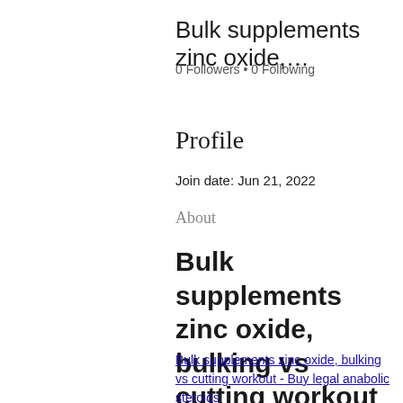Bulk supplements zinc oxide,...
0 Followers • 0 Following
Profile
Join date: Jun 21, 2022
About
Bulk supplements zinc oxide, bulking vs cutting workout
Bulk supplements zinc oxide, bulking vs cutting workout - Buy legal anabolic steroids